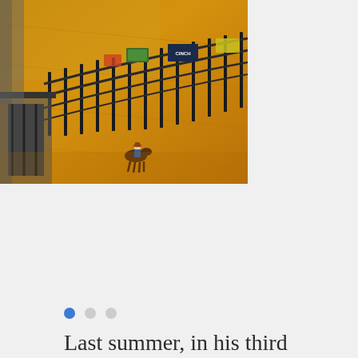[Figure (photo): Aerial/elevated view of a rodeo arena with sandy dirt floor, metal fence railings, and sponsor banners including CINCH. A rider on horseback is visible near the fence.]
Last summer, in his third season as the Cal Poly-